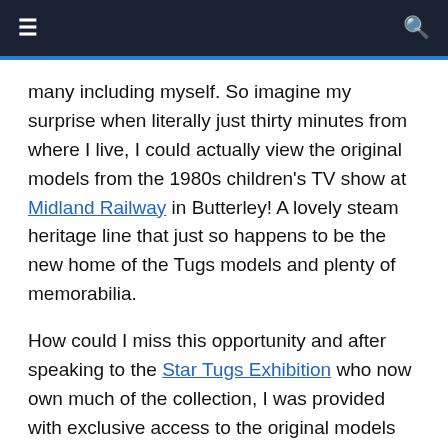≡  [navigation bar]  🔍
many including myself. So imagine my surprise when literally just thirty minutes from where I live, I could actually view the original models from the 1980s children's TV show at Midland Railway in Butterley! A lovely steam heritage line that just so happens to be the new home of the Tugs models and plenty of memorabilia.
How could I miss this opportunity and after speaking to the Star Tugs Exhibition who now own much of the collection, I was provided with exclusive access to the original models which includes Ten Cents, Big Mac, O.J., Hercules, Sunshine, Zorran, Zebedee, Zak, Zug, Zip and many more besides! The icing on the cake